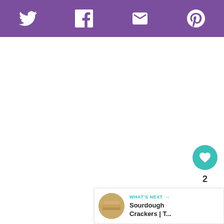Social share toolbar with Twitter, Facebook, Email, Pinterest icons
[Figure (infographic): Floating action buttons: teal heart/like button with count 2, and a share button]
2
WHAT'S NEXT → Sourdough Crackers | T...